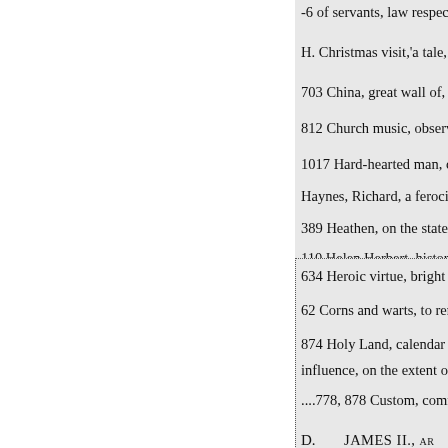-6 of servants, law respecting,
H. Christmas visit,'a tale,. 175
703 China, great wall of, . 105
812 Church music, observation
1017 Hard-hearted man, confe
Haynes, Richard, a ferocious thi
389 Heathen, on the state of th
110 Helen Herbert, history of,
634 Heroic virtue, bright exa
62 Corns and warts, to remo
874 Holy Land, calendar of t
influence, on the extent of,...... 4
....778, 878 Custom, commen
D.
JAMES II., ar